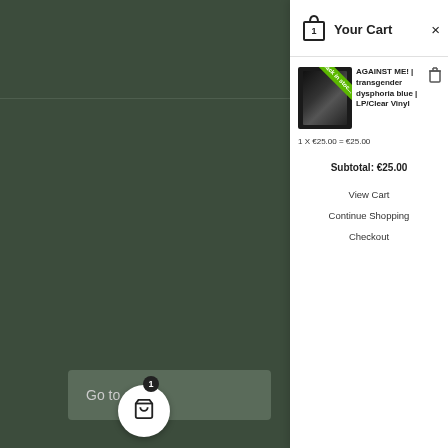[Figure (screenshot): Shopping cart panel overlay on a dark green website background. Left side shows dark green background with a 'Go to...' button and partial notification text about 'AGAINST ME!' album. Right side shows white cart panel with header 'Your Cart', one item (Against Me! transgender dysphoria blue LP/Clear Vinyl, 1 x €25.00 = €25.00), subtotal €25.00, and buttons for View Cart, Continue Shopping, Checkout.]